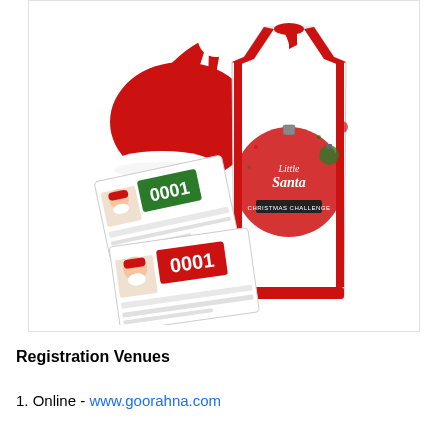[Figure (illustration): Christmas running event merchandise illustration: a red Santa hat, a white sleeveless running singlet/vest with Christmas ornament design and 'Santa Christmas Challenge' text, and two race bibs numbered 0001 (one with green background, one with red background), showing event registration pack items.]
Registration Venues
1. Online - www.goorahna.com